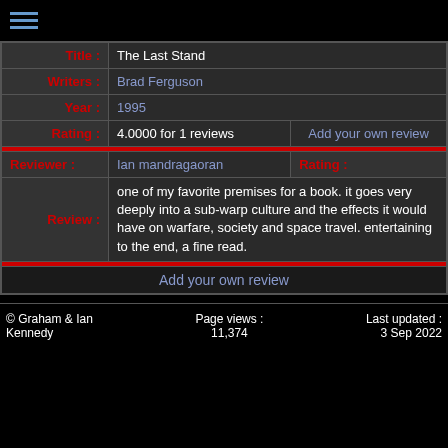[Figure (other): Hamburger menu icon with three horizontal blue lines]
| Title : | The Last Stand |  |
| Writers : | Brad Ferguson |  |
| Year : | 1995 |  |
| Rating : | 4.0000 for 1 reviews | Add your own review |
| Reviewer : | Ian mandragaoran | Rating : |
| Review : | one of my favorite premises for a book. it goes very deeply into a sub-warp culture and the effects it would have on warfare, society and space travel. entertaining to the end, a fine read. |  |
Add your own review
© Graham & Ian Kennedy   Page views : 11,374   Last updated : 3 Sep 2022